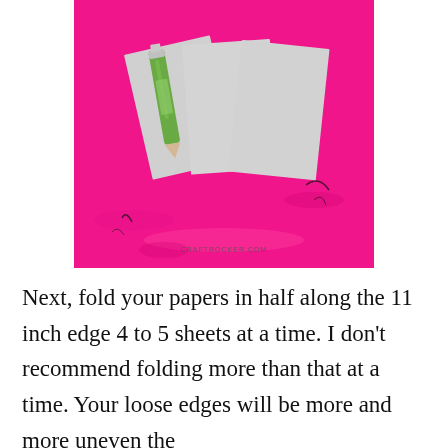[Figure (photo): Photo of three grey paper cards fanned out on a bright pink/magenta background, with a green pencil lying across the left card. Watermark reads CRAFTROCKER.COM.]
Next, fold your papers in half along the 11 inch edge 4 to 5 sheets at a time. I don't recommend folding more than that at a time. Your loose edges will be more and more uneven the